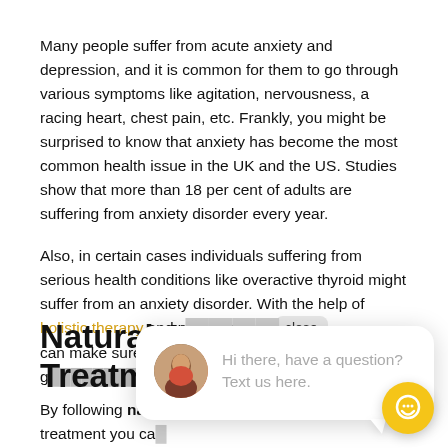Many people suffer from acute anxiety and depression, and it is common for them to go through various symptoms like agitation, nervousness, a racing heart, chest pain, etc. Frankly, you might be surprised to know that anxiety has become the most common health issue in the UK and the US. Studies show that more than 18 per cent of adults are suffering from anxiety disorder every year.
Also, in certain cases individuals suffering from serious health conditions like overactive thyroid might suffer from an anxiety disorder. With the help of holistic therapy and proper assist [close] can make sure to g...
Natural A... Treatments To Follow
By following natural anxiety medication and treatment you ca... improve and reduce your anxiety. And the best part is that there ... any side effects. These mind-body practices are the best natural